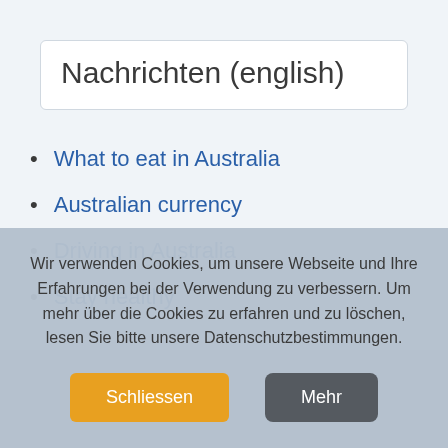Nachrichten (english)
What to eat in Australia
Australian currency
Driving in Australia
Stay healthy
Wir verwenden Cookies, um unsere Webseite und Ihre Erfahrungen bei der Verwendung zu verbessern. Um mehr über die Cookies zu erfahren und zu löschen, lesen Sie bitte unsere Datenschutzbestimmungen.
Schliessen
Mehr